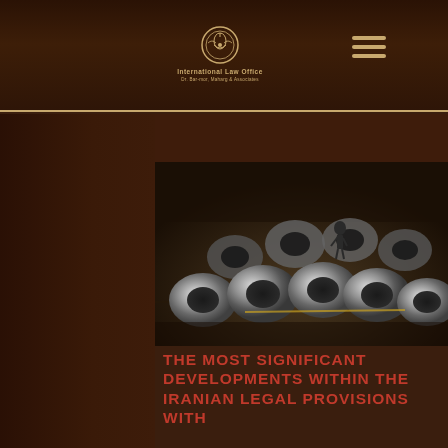International Law Office
READ MORE
[Figure (photo): Industrial photo showing large steel coils/rolls in a factory floor with a worker visible in the background]
THE MOST SIGNIFICANT DEVELOPMENTS WITHIN THE IRANIAN LEGAL PROVISIONS WITH